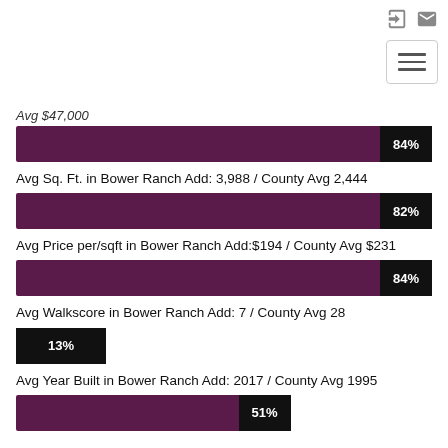[Figure (bar-chart): Avg $47,000 - 84%]
Avg Sq. Ft. in Bower Ranch Add: 3,988 / County Avg 2,444
[Figure (bar-chart): Avg Sq. Ft. 82%]
Avg Price per/sqft in Bower Ranch Add:$194 / County Avg $231
[Figure (bar-chart): Avg Price per/sqft 84%]
Avg Walkscore in Bower Ranch Add: 7 / County Avg 28
[Figure (bar-chart): Avg Walkscore 13%]
Avg Year Built in Bower Ranch Add: 2017 / County Avg 1995
[Figure (bar-chart): Avg Year Built 51%]